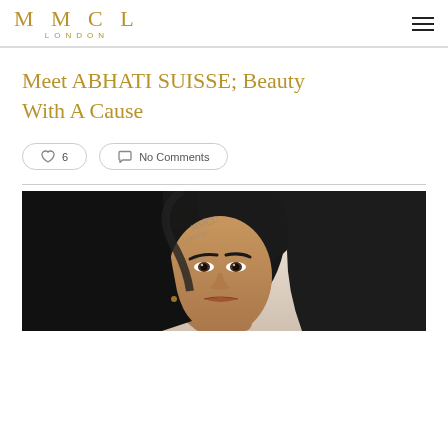MMCL LONDON
Meet ABHATI SUISSE; Beauty With A Cause
♡ 6
No Comments
[Figure (photo): Portrait photograph of a dark-haired woman looking at the camera, cropped to show face and upper shoulders]